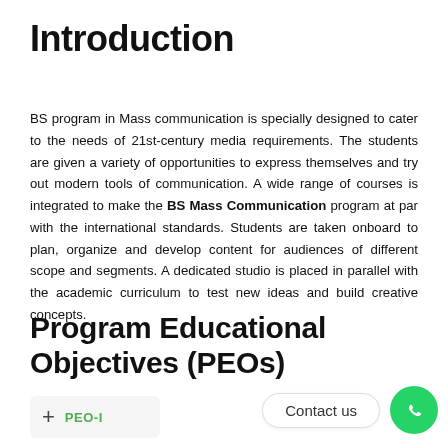Introduction
BS program in Mass communication is specially designed to cater to the needs of 21st-century media requirements. The students are given a variety of opportunities to express themselves and try out modern tools of communication. A wide range of courses is integrated to make the BS Mass Communication program at par with the international standards. Students are taken onboard to plan, organize and develop content for audiences of different scope and segments. A dedicated studio is placed in parallel with the academic curriculum to test new ideas and build creative concepts.
Program Educational Objectives (PEOs)
PEO-I